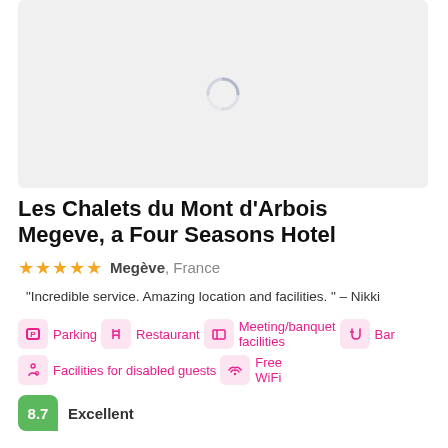[Figure (other): Loading placeholder with spinner icon for hotel image]
Les Chalets du Mont d'Arbois Megeve, a Four Seasons Hotel
★★★★★  Megève, France
"Incredible service. Amazing location and facilities. " - Nikki
Parking
Restaurant
Meeting/banquet facilities
Bar
Facilities for disabled guests
Free WiFi
8.7  Excellent